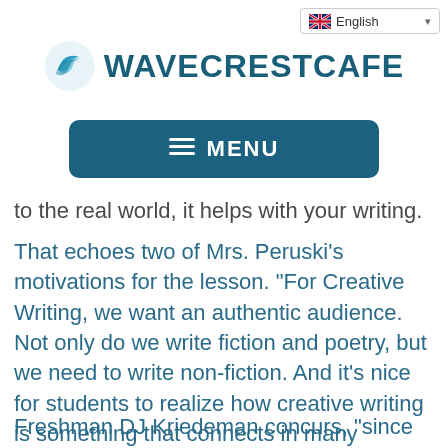[Figure (logo): WaveCrestCafe logo with wave icon and bold teal text]
English (language selector dropdown)
[Figure (screenshot): Dark teal MENU button with hamburger icon]
to the real world, it helps with your writing.
That echoes two of Mrs. Peruski’s motivations for the lesson. “For Creative Writing, we want an authentic audience. Not only do we write fiction and poetry, but we need to write non-fiction. And it’s nice for students to realize how creative writing is something that connects in many careers.”
Freshman DJ Kriedeman concurs, “since we’re the ones that are going to be eating the